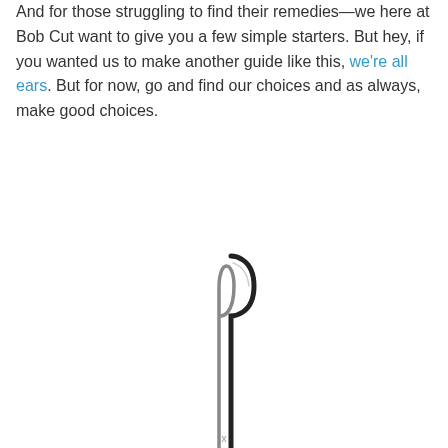And for those struggling to find their remedies—we here at Bob Cut want to give you a few simple starters. But hey, if you wanted us to make another guide like this, we're all ears. But for now, go and find our choices and as always, make good choices.
[Figure (photo): A partial image of a bobby pin or hair pin, showing a curved dark metal pin shape against a white background, visible only partially on the right-center of the page.]
x